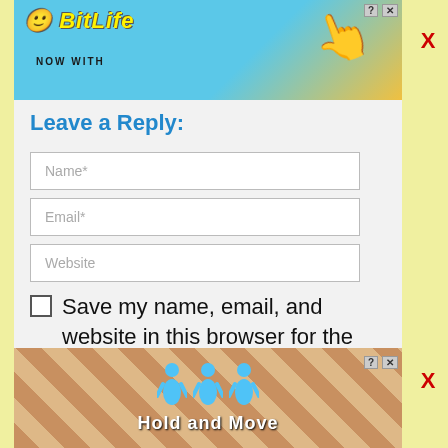[Figure (screenshot): BitLife ad banner - blue background with BitLife logo, 'NOW WITH GOD MODE' text, hand pointing graphic]
Leave a Reply:
Name*
Email*
Website
Save my name, email, and website in this browser for the next time I comment.
[Figure (screenshot): Hold and Move ad banner - wooden background with blue cartoon figures and 'Hold and Move' text]